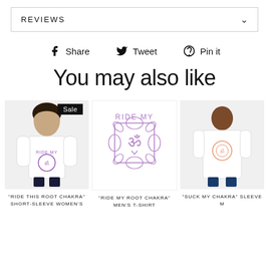REVIEWS
Share  Tweet  Pin it
You may also like
[Figure (photo): Product photo of woman wearing 'Ride This Root Chakra' short-sleeve women's t-shirt, with Sale badge]
[Figure (photo): Product image showing 'Ride My Root Chakra' graphic – chakra lotus symbol with Sanskrit text in purple]
[Figure (photo): Partial product photo of man wearing 'Suck My Chakra' short-sleeve men's t-shirt]
"RIDE THIS ROOT CHAKRA" SHORT-SLEEVE WOMEN'S
"RIDE MY ROOT CHAKRA" MEN'S T-SHIRT
"SUCK MY CHAKRA" SLEEVE M